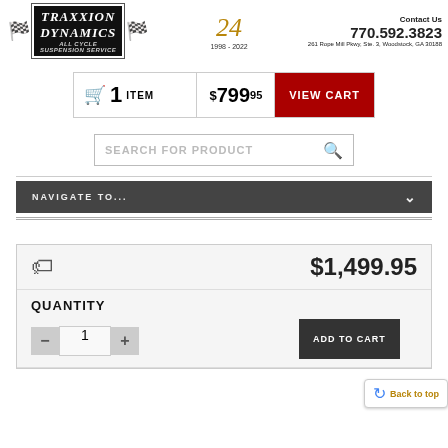[Figure (logo): Traxxion Dynamics All Cycle Suspension Service logo with checkered flags, 24 years anniversary badge (1998-2022), contact info: 770.592.3823, 261 Rope Mill Pkwy, Ste. 3, Woodstock, GA 30188]
1 ITEM  $799.95  VIEW CART
SEARCH FOR PRODUCT
NAVIGATE TO...
$1,499.95
QUANTITY
ADD TO CART